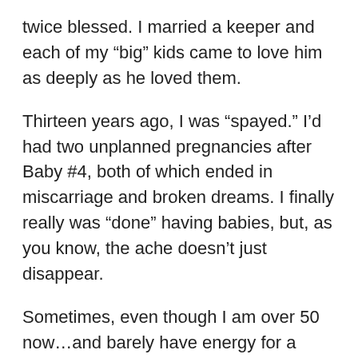twice blessed. I married a keeper and each of my “big” kids came to love him as deeply as he loved them.
Thirteen years ago, I was “spayed.” I’d had two unplanned pregnancies after Baby #4, both of which ended in miscarriage and broken dreams. I finally really was “done” having babies, but, as you know, the ache doesn’t just disappear.
Sometimes, even though I am over 50 now…and barely have energy for a puppy, much less a baby 🙂 , I still yearn for those days of baby snuggles. The first laugh. The first word. The first step. Funny how we forget all the diaper-explosions, sleepless nights, high-fevers, and etiquette lessons! It’s a little like forgetting the